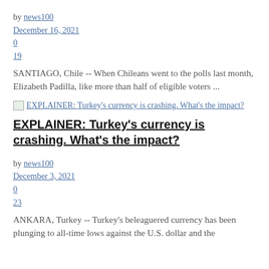by news100
December 16, 2021
0
19
SANTIAGO, Chile -- When Chileans went to the polls last month, Elizabeth Padilla, like more than half of eligible voters ...
[Figure (other): Thumbnail image link for article: EXPLAINER: Turkey's currency is crashing. What's the impact?]
EXPLAINER: Turkey's currency is crashing. What's the impact?
by news100
December 3, 2021
0
23
ANKARA, Turkey -- Turkey's beleaguered currency has been plunging to all-time lows against the U.S. dollar and the